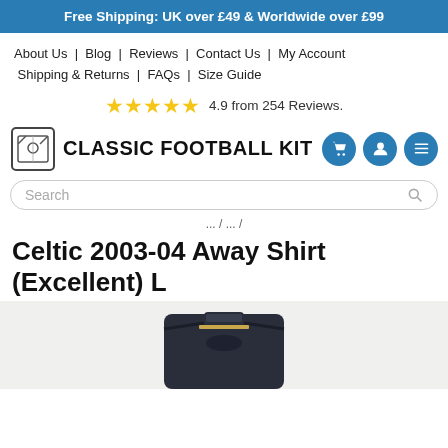Free Shipping: UK over £49 & Worldwide over £99
About Us | Blog | Reviews | Contact Us | My Account | Shipping & Returns | FAQs | Size Guide
4.9 from 254 Reviews.
[Figure (logo): Classic Football Kit logo with shirt icon and blue circular icons for cart, account, and menu]
Search
.../ .../
Celtic 2003-04 Away Shirt (Excellent) L
[Figure (photo): Partial photo of a dark Celtic 2003-04 away shirt, visible from collar area upward]